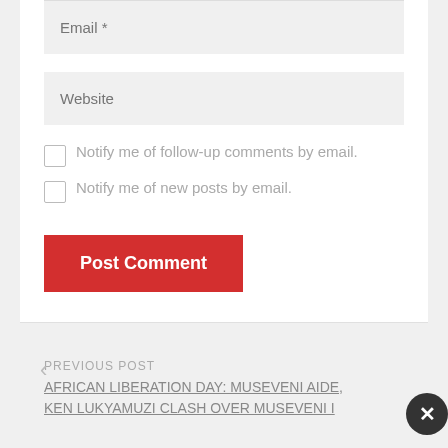Email *
Website
Notify me of follow-up comments by email.
Notify me of new posts by email.
Post Comment
PREVIOUS POST
AFRICAN LIBERATION DAY: MUSEVENI AIDE, KEN LUKYAMUZI CLASH OVER MUSEVENI I